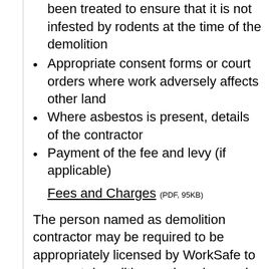been treated to ensure that it is not infested by rodents at the time of the demolition
Appropriate consent forms or court orders where work adversely affects other land
Where asbestos is present, details of the contractor
Payment of the fee and levy (if applicable)
Fees and Charges (PDF, 95KB)
The person named as demolition contractor may be required to be appropriately licensed by WorkSafe to carry out demolition work and may also require an